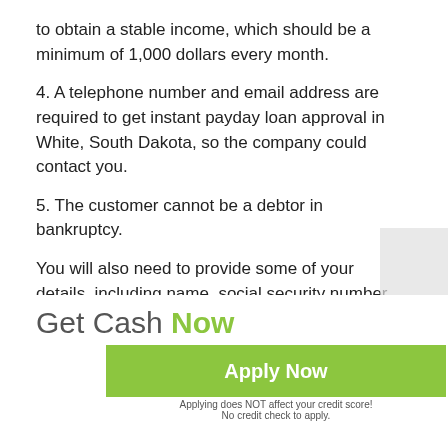to obtain a stable income, which should be a minimum of 1,000 dollars every month.
4. A telephone number and email address are required to get instant payday loan approval in White, South Dakota, so the company could contact you.
5. The customer cannot be a debtor in bankruptcy.
You will also need to provide some of your details, including name, social security number, and the number of payday loans. As soon as the necessary information is submitted, they will contact you to approve the details. This way, all the terms, and conditions are approved in White.
Get Cash Now
[Figure (other): Green 'Apply Now' button with subtext 'Applying does NOT affect your credit score!' and 'No credit check to apply.']
White, SD payday loans have become much easier to receive due to the online application process. It makes it quick and simple for the customers. They are to spend just